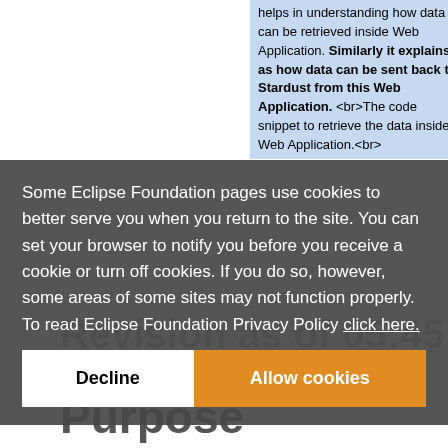helps in understanding how data can be retrieved inside Web Application. Similarly it explains as how data can be sent back to Stardust from this Web Application.<br>The code snippet to retrieve the data inside Web Application.<br>
Some Eclipse Foundation pages use cookies to better serve you when you return to the site. You can set your browser to notify you before you receive a cookie or turn off cookies. If you do so, however, some areas of some sites may not function properly. To read Eclipse Foundation Privacy Policy click here.
Revision as of 05:45, 9 November 2011
Purpose